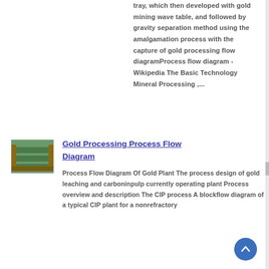tray, which then developed with gold mining wave table, and followed by gravity separation method using the amalgamation process with the capture of gold processing flow diagramProcess flow diagram - Wikipedia The Basic Technology Mineral Processing ,...
[Figure (photo): Thumbnail image of gold processing equipment - appears to be a green-colored shaking table or wave table used in gold mining.]
Gold Processing Process Flow Diagram
Process Flow Diagram Of Gold Plant The process design of gold leaching and carboninpulp currently operating plant Process overview and description The CIP process A blockflow diagram of a typical CIP plant for a nonrefractory